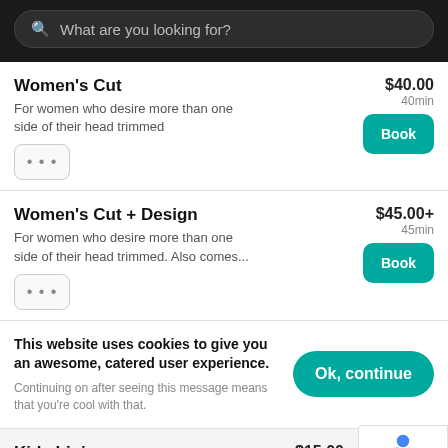What are you looking for?
Women's Cut
For women who desire more than one side of their head trimmed
$40.00 · 40min
Women's Cut + Design
For women who desire more than one side of their head trimmed. Also comes...
$45.00+ · 45min
This website uses cookies to give you an awesome, catered user experience. Continuing on after seeing this message means that you're cool with that.
Kids Lining
$15.00 · 20min